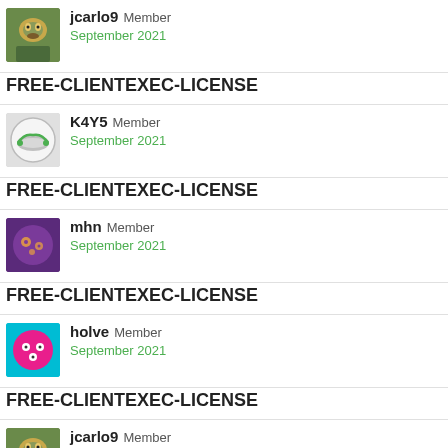[Figure (photo): Avatar of user jcarlo9 - bird photo]
jcarlo9 Member
September 2021
FREE-CLIENTEXEC-LICENSE
[Figure (illustration): Avatar of user K4Y5 - abstract circular image]
K4Y5 Member
September 2021
FREE-CLIENTEXEC-LICENSE
[Figure (illustration): Avatar of user mhn - circular icon with dots on dark background]
mhn Member
September 2021
FREE-CLIENTEXEC-LICENSE
[Figure (illustration): Avatar of user holve - pink circle with dots on cyan background]
holve Member
September 2021
FREE-CLIENTEXEC-LICENSE
[Figure (photo): Avatar of user jcarlo9 - bird photo]
jcarlo9 Member
September 2021
I want to try ClientExec as well Invoice Number 971139 . Thank you ! 🙂